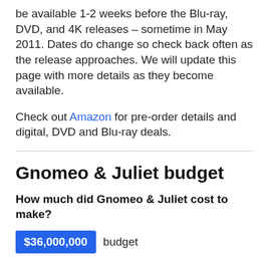be available 1-2 weeks before the Blu-ray, DVD, and 4K releases – sometime in May 2011. Dates do change so check back often as the release approaches. We will update this page with more details as they become available.
Check out Amazon for pre-order details and digital, DVD and Blu-ray deals.
Gnomeo & Juliet budget
How much did Gnomeo & Juliet cost to make?
$36,000,000 budget